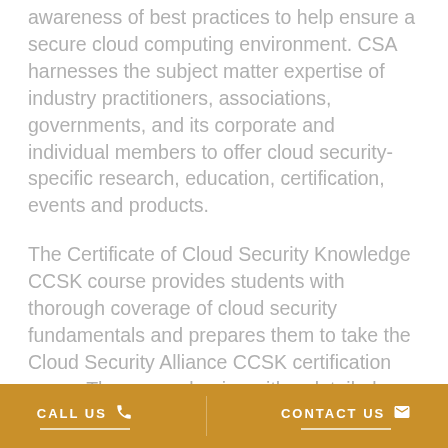awareness of best practices to help ensure a secure cloud computing environment. CSA harnesses the subject matter expertise of industry practitioners, associations, governments, and its corporate and individual members to offer cloud security-specific research, education, certification, events and products.
The Certificate of Cloud Security Knowledge CCSK course provides students with thorough coverage of cloud security fundamentals and prepares them to take the Cloud Security Alliance CCSK certification exam. The course begins with a detailed description of cloud computing and then expands into all major organisations such as; Governance and Risk Management, the Cloud Architectural Framework and Business Continuity/Disaster. The CCSK is an
CALL US   CONTACT US